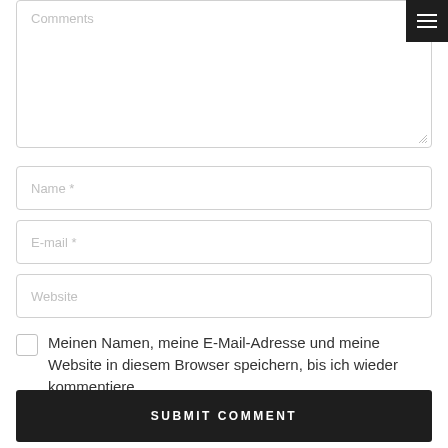[Figure (screenshot): Comments textarea form field with placeholder text 'Comments']
[Figure (screenshot): Hamburger menu button (three horizontal lines) in dark background, top right corner]
Name *
E-mail *
Website
Meinen Namen, meine E-Mail-Adresse und meine Website in diesem Browser speichern, bis ich wieder kommentiere.
SUBMIT COMMENT